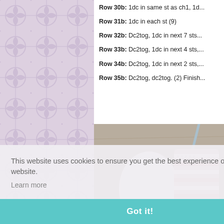[Figure (illustration): Left decorative panel with lavender/mauve background and repeating cross-and-circle geometric pattern]
Row 30b: 1dc in same st as ch1, 1d...
Row 31b: 1dc in each st (9)
Row 32b: Dc2tog, 1dc in next 7 sts...
Row 33b: Dc2tog, 1dc in next 4 sts,...
Row 34b: Dc2tog, 1dc in next 2 sts,...
Row 35b: Dc2tog, dc2tog. (2) Finish...
[Figure (photo): Crochet project in progress on a wooden surface — white and pink striped crocheted piece with a crochet hook visible in the upper right]
This website uses cookies to ensure you get the best experience on our website.
Learn more
Got it!